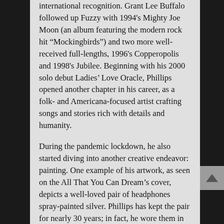international recognition. Grant Lee Buffalo followed up Fuzzy with 1994's Mighty Joe Moon (an album featuring the modern rock hit "Mockingbirds") and two more well-received full-lengths, 1996's Copperopolis and 1998's Jubilee. Beginning with his 2000 solo debut Ladies' Love Oracle, Phillips opened another chapter in his career, as a folk- and Americana-focused artist crafting songs and stories rich with details and humanity.
During the pandemic lockdown, he also started diving into another creative endeavor: painting. One example of his artwork, as seen on the All That You Can Dream's cover, depicts a well-loved pair of headphones spray-painted silver. Phillips has kept the pair for nearly 30 years; in fact, he wore them in photographs included in Mighty Joe Moon's booklet. To Phillips, the artwork signifies not just All That You Can Dream's interior vibe, but his own meditative past few years.